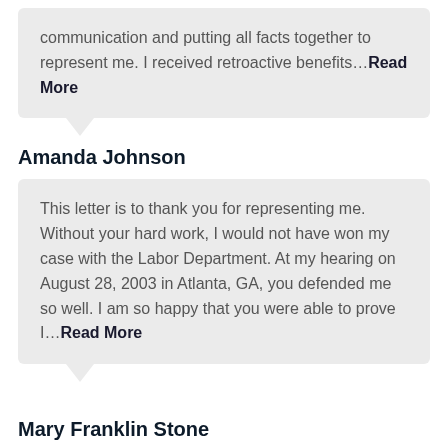communication and putting all facts together to represent me. I received retroactive benefits...Read More
Amanda Johnson
This letter is to thank you for representing me. Without your hard work, I would not have won my case with the Labor Department. At my hearing on August 28, 2003 in Atlanta, GA, you defended me so well. I am so happy that you were able to prove I...Read More
Mary Franklin Stone